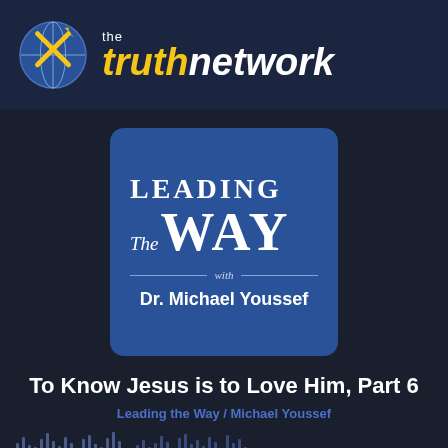[Figure (logo): The Truth Network logo with globe and cross icon, yellow italic 'truth' and white 'network' text on dark blue background]
[Figure (logo): Leading The Way with Dr. Michael Youssef podcast cover art - blue square with white serif text]
To Know Jesus is to Love Him, Part 6
Leading the Way / Michael Youssef